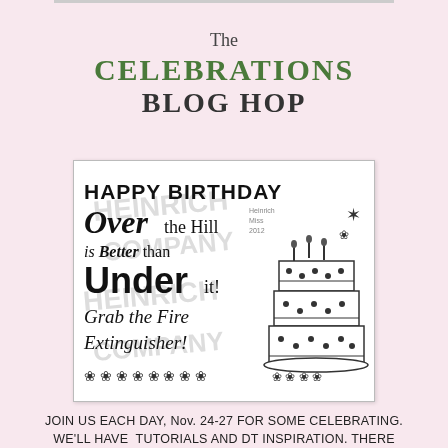The CELEBRATIONS BLOG HOP
[Figure (illustration): Black and white stamp image with birthday text: HAPPY BIRTHDAY, Over the Hill is Better than Under it!, Grab the Fire Extinguisher! With a birthday cake illustration covered in candles and flower decorations. Heinrich Company watermark in background.]
JOIN US EACH DAY, Nov. 24-27 FOR SOME CELEBRATING. WE'LL HAVE TUTORIALS AND DT INSPIRATION. THERE WILL BE PRIZES FOR LEAVING COMMENTS ON THE